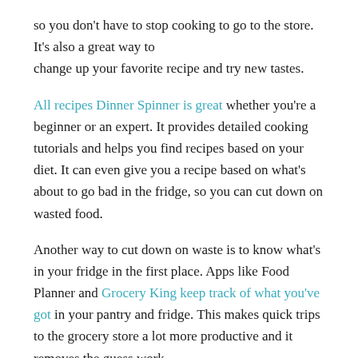so you don't have to stop cooking to go to the store. It's also a great way to change up your favorite recipe and try new tastes.
All recipes Dinner Spinner is great whether you're a beginner or an expert. It provides detailed cooking tutorials and helps you find recipes based on your diet. It can even give you a recipe based on what's about to go bad in the fridge, so you can cut down on wasted food.
Another way to cut down on waste is to know what's in your fridge in the first place. Apps like Food Planner and Grocery King keep track of what you've got in your pantry and fridge. This makes quick trips to the grocery store a lot more productive and it removes the guess work.
Social Media Sharing
While it's great to see your family wolf down an expertly crafted meal with enthusiasm, you put a lot of work into that meal. You want to have something to show for all your hard work, even if it's just a pretty picture. Food photography is a wildly popular topic. Just take a look at